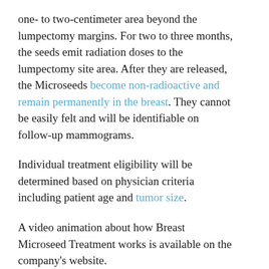one- to two-centimeter area beyond the lumpectomy margins. For two to three months, the seeds emit radiation doses to the lumpectomy site area. After they are released, the Microseeds become non-radioactive and remain permanently in the breast. They cannot be easily felt and will be identifiable on follow-up mammograms.
Individual treatment eligibility will be determined based on physician criteria including patient age and tumor size.
A video animation about how Breast Microseed Treatment works is available on the company's website.
The post Concure's New $2.5M Funding to Boost Patient Access to its Radioactive Seed Treatment appeared first on Breast Cancer News.